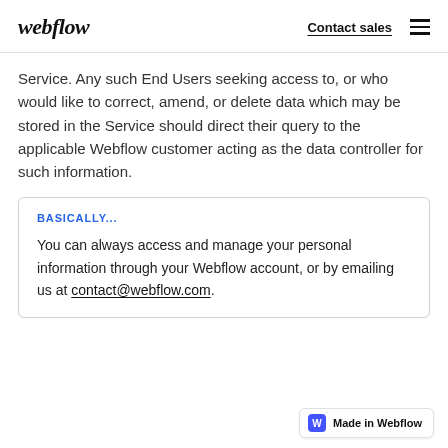webflow | Contact sales
Service. Any such End Users seeking access to, or who would like to correct, amend, or delete data which may be stored in the Service should direct their query to the applicable Webflow customer acting as the data controller for such information.
BASICALLY...
You can always access and manage your personal information through your Webflow account, or by emailing us at contact@webflow.com.